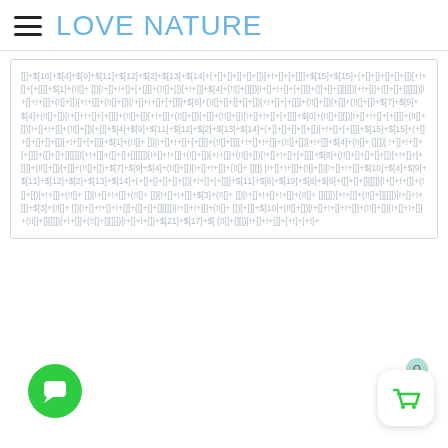LOVE NATURE
[]]+$[16]+$[4]+$[9]+$[11]+$[12]+$[2]+$[13]+$[14]+(+[]+[]+[]+[]+[])[+!+[]+[+[]]]+$[15]+$[15]+(+[]+[]+[]+[]+[])[+!+[]+[+[]]]+$[1]+(!![]+ [])[!+[]+!+[]+[+[]]]+(!![]+[])[+!+[]]+$[4]+(!![]+[][])[!+[]+!+[]+[+[]]]+([]+[]+[][[]])[+!+[]]+([]+[]+[][[]])[!+[]+!+[]]+(![]+[])[+!+[]]+(!![]+[])[!+[]+!+[]+[+[]]]+$[8]+(!![]+[]+[]+[]+[])[+!+[]+[+[]]]+(!![]+[])[+[]]+(!![]+[])+$[7]+$[9]+$[4]+(!![]+[])[!+[]+!+[]+[+[]]]+(!![]+[])[+!+[]]+(!![]+[])[+[]]+(!![]+[])[!+[]+!+[]+[+[]]]+$[0]+(!![]+[][])[!+[]+!+[]+[+[]]]+(!![]+[])[!+[]+!+[]]+(!![]+ [])[+[]]+$[4]+$[9]+$[11]+$[12]+$[2]+$[13]+$[14]+(+[]+[]+[]+[]+[])[+!+[]+[+[]]]+$[15]+$[15]+(+[]+[]+[]+[]+[])[+!+[]+[+[]]]+$[1]+(!![]+ [])[!+[]+!+[]+[+[]]]+(!![]+[])[+!+[]+!+[]]+((!![]+[])[+!+[]]+$[4]+(!![]+ [][])[ !+[]+!+[]+[+[]]]+([]+[]+[][[]])[+!+[]]+([]+[]+[][[]])[!+[]+!+[]]+(![]+[])[+!+[]]+(!![]+[])[!+[]+!+[]+[+[]]]+$[8]+(!![]+[]+[]+[]+[])[+!+[]+[+[]]]+(!![]+[])[+[]]+(!![]+[])+$[7]+$[9]+$[4]+(!![]+[])[!+[]+!+[]]+ (!![]+[][])[!+[]+!+[]+[+[]]]+(!![]+[]][+!+[]+[+[]]]+(!![]+[][[]])[ !+[]+!+[]]+(!![]+ [])[+[]]+$[10]+$[4]+$[9]+$[11]+$[12]+$[2]+$[13]+$[14]+(+[]+[]+[]+[]+[])[+!+[]+[+[]]]+$[11]+$[6]+$[19]+$[6]+$[6]+([]+[]+[][[]])[!+[]+!+[]]+(![]+[])[+!+[]]+(!![]+ [])[!+[]+!+[]]+(!![]+ [])[!+[]+!+[]]+$[3]+(!![]+ [])[!+[]+!+[]+!+[]]+(!![]+ [][[]])[+!+[]+([]+[]+[][[]])[!+[]+!+[]]+(!![]+ [])[+[]]+$[10]+(!![]+[])[!+[]+!+[]+!+[]]+(!![]+ [])[ !+[]+!+[]]+(!![]+ [][[]])[+!+[]]+(!![]+[][[]])[!+[]+!+[]]+$[21]+$[17]+$[(!![]+ [][]) [!+[]+!+[]]+[+!]+[+!]+